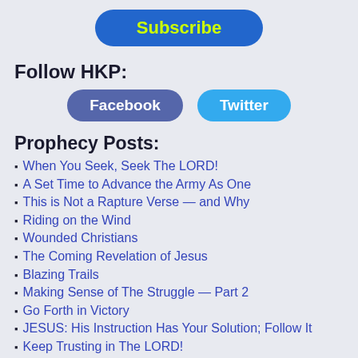[Figure (other): Blue rounded button with yellow-green bold text reading 'Subscribe']
Follow HKP:
[Figure (other): Two rounded buttons side by side: 'Facebook' (dark blue-purple) and 'Twitter' (light blue), both with white bold text]
Prophecy Posts:
When You Seek, Seek The LORD!
A Set Time to Advance the Army As One
This is Not a Rapture Verse — and Why
Riding on the Wind
Wounded Christians
The Coming Revelation of Jesus
Blazing Trails
Making Sense of The Struggle — Part 2
Go Forth in Victory
JESUS: His Instruction Has Your Solution; Follow It
Keep Trusting in The LORD!
Of Dungeons and Dragons
A Word for The Seniors
Your Best Life Shall Rise in the Darkness